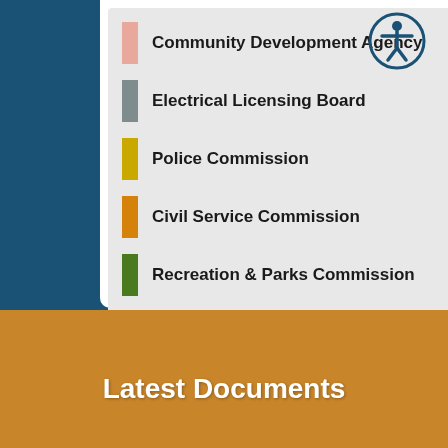Community Development Agency
Electrical Licensing Board
Police Commission
Civil Service Commission
Recreation & Parks Commission
All Categories ...
Latest Documents